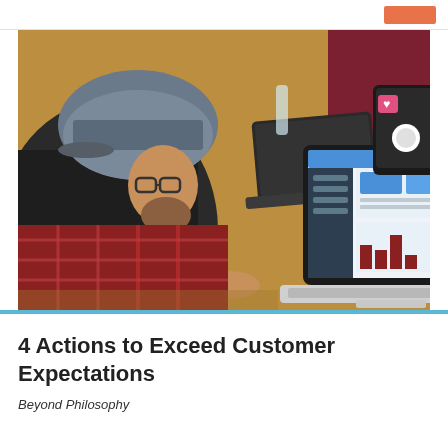[Figure (photo): Overhead view of people sitting around a wooden table with laptops open, having a discussion. One person in a blue cap and plaid shirt gestures with their hands. Another person in a dark red shirt is visible across the table. A MacBook with a dashboard/analytics screen is prominently visible in the foreground.]
4 Actions to Exceed Customer Expectations
Beyond Philosophy